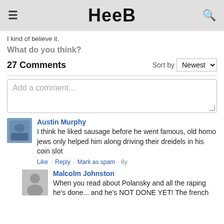Heeb
I kind of believe it.
What do you think?
27 Comments  Sort by Newest
Add a comment...
Austin Murphy
I think he liked sausage before he went famous, old homo jews only helped him along driving their dreidels in his coin slot
Like · Reply · Mark as spam · 8y
Malcolm Johnston
When you read about Polansky and all the raping he's done... and he's NOT DONE YET! The french